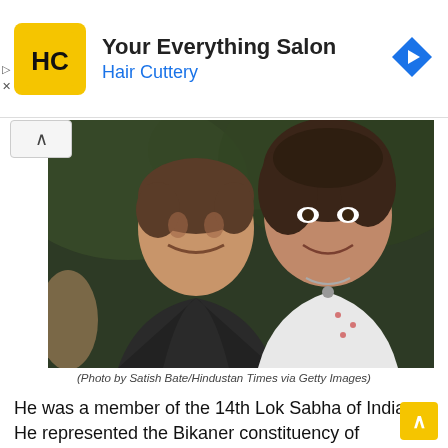[Figure (logo): Hair Cuttery advertisement banner with HC logo (yellow square with HC monogram), text 'Your Everything Salon' and 'Hair Cuttery' in blue, with a blue navigation arrow icon on the right]
[Figure (photo): Two men posing together outdoors. An older man on the left wearing a dark jacket and a younger man on the right wearing a white patterned shirt with a chain necklace. Background is blurred green foliage.]
(Photo by Satish Bate/Hindustan Times via Getty Images)
He was a member of the 14th Lok Sabha of India. He represented the Bikaner constituency of...